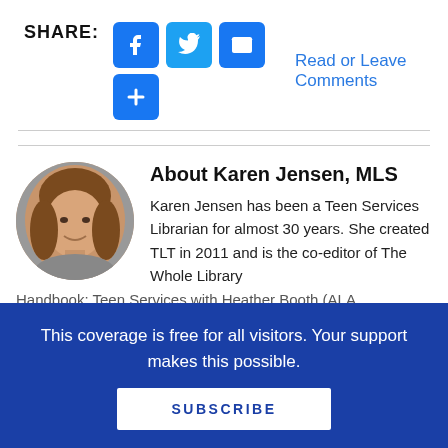[Figure (infographic): SHARE row with Facebook, Twitter, email and plus icons, and a 'Read or Leave Comments' link]
[Figure (photo): Circular portrait photo of Karen Jensen, a woman with brown hair]
About Karen Jensen, MLS
Karen Jensen has been a Teen Services Librarian for almost 30 years. She created TLT in 2011 and is the co-editor of The Whole Library
Handbook: Teen Services with Heather Booth (ALA…
This coverage is free for all visitors. Your support makes this possible.
SUBSCRIBE